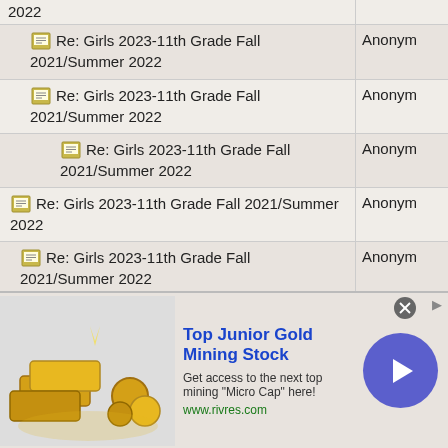Re: Girls 2023-11th Grade Fall 2021/Summer 2022 — Anonym
Re: Girls 2023-11th Grade Fall 2021/Summer 2022 — Anonym
Re: Girls 2023-11th Grade Fall 2021/Summer 2022 — Anonym
Re: Girls 2023-11th Grade Fall 2021/Summer 2022 — Anonym
Re: Girls 2023-11th Grade Fall 2021/Summer 2022 — Anonym
Re: Girls 2023-11th Grade Fall 2021/Summer 2022 — Anonym
Re: Girls 2023-11th Grade Fall 2021/Summer 2022 — Anonym
Re: Girls 2023-11th Grade Fall — Anonym
[Figure (screenshot): Advertisement banner: Top Junior Gold Mining Stock – Get access to the next top mining Micro Cap here! www.rivres.com]